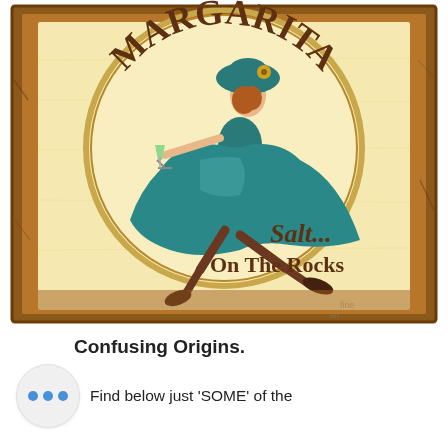[Figure (illustration): Vintage retro bar sign for 'MARGARITA' featuring an illustrated woman in a teal/blue dress holding a margarita glass, with text 'SALT... ON THE ROCKS' on a cream background with a brown wooden frame border.]
Confusing Origins.
Find below just 'SOME' of the